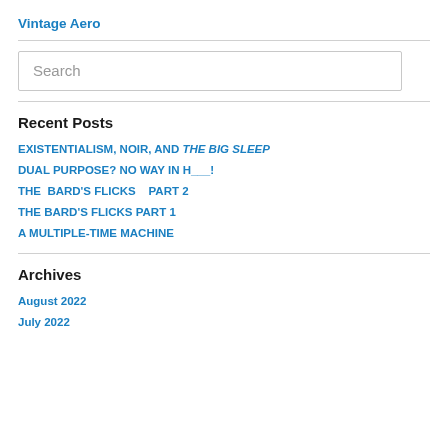Vintage Aero
Search
Recent Posts
EXISTENTIALISM, NOIR, AND THE BIG SLEEP
DUAL PURPOSE? NO WAY IN H___!
THE BARD'S FLICKS   PART 2
THE BARD'S FLICKS PART 1
A MULTIPLE-TIME MACHINE
Archives
August 2022
July 2022